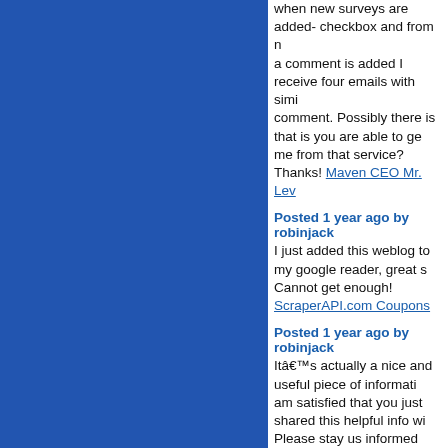when new surveys are added- checkbox and from now when a comment is added I receive four emails with similar comment. Possibly there is that is you are able to get me from that service? Thanks! Maven CEO Mr. Lev
Posted 1 year ago by robinjack
I just added this weblog to my google reader, great stuff. Cannot get enough! ScraperAPI.com Coupons
Posted 1 year ago by robinjack
Itâ€™s actually a nice and useful piece of information. I am satisfied that you just shared this helpful info wi. Please stay us informed like this. Thank you for sha. citricdigital.com
Posted 11 months ago by robinjack
Attractive part of content. I just stumbled upon you and in accession capital to claim that I acquire in fact enjoyed account your blog posts. Any way Iâ€™ll be subscribing to your feeds and even I achievement your entry to constantly quickly. winslot303
Posted 9 months ago by robinjack
Just have to thank you for this great information. This is what I was looking for (Thanks Bing Daftar Judi Bo
Posted 8 months ago by robinjack
there are many sites on the internet that offers downloadable movies, some are even offering the la movies. Retrato Infantil
Posted 7 months ago by robinjack
Whoah this blog is magnificient i really like reading